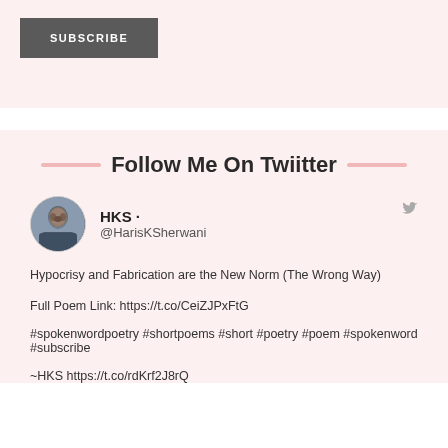SUBSCRIBE
Follow Me On Twiitter
HKS · @HarisKSherwani
Hypocrisy and Fabrication are the New Norm (The Wrong Way)
Full Poem Link: https://t.co/CeiZJPxFtG
#spokenwordpoetry #shortpoems #short #poetry #poem #spokenword #subscribe
~HKS https://t.co/rdKrf2J8rQ